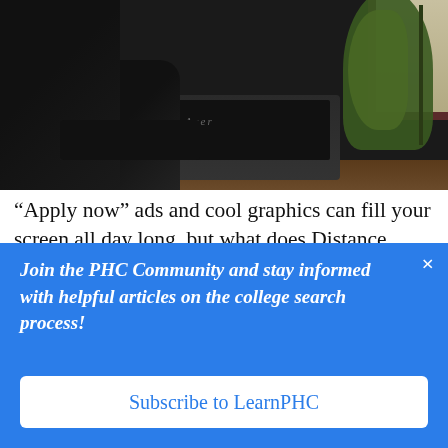[Figure (photo): Photo of a person working on a laptop (Acer brand visible) at a wooden table, with a plant and window visible in the background.]
“Apply now” ads and cool graphics can fill your screen all day long, but what does Distance Learning look like on a personal level? We took the initiative to answer that question. We asked prior Distance Learning (DL) students to give their stories so YOU can get a glimpse
Join the PHC Community and stay informed with helpful articles on the college search process!
Subscribe to LearnPHC